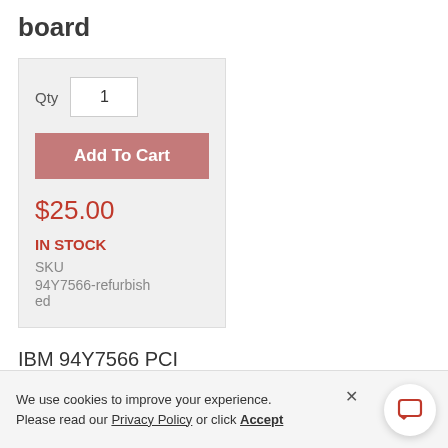board
Qty  1
Add To Cart
$25.00
IN STOCK
SKU
94Y7566-refurbished
IBM 94Y7566 PCI
Bracket 2-no PCI Board
We use cookies to improve your experience. Please read our Privacy Policy or click Accept